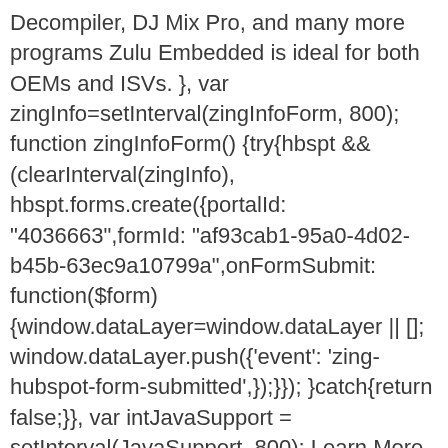Decompiler, DJ Mix Pro, and many more programs Zulu Embedded is ideal for both OEMs and ISVs. }, var zingInfo=setInterval(zingInfoForm, 800); function zingInfoForm() {try{hbspt && (clearInterval(zingInfo), hbspt.forms.create({portalId: "4036663",formId: "af93cab1-95a0-4d02-b45b-63ec9a10799a",onFormSubmit: function($form) {window.dataLayer=window.dataLayer || []; window.dataLayer.push({'event': 'zing-hubspot-form-submitted',});}}); }catch{return false;}}, var intJavaSupport = setInterval(JavaSupport, 800); Learn More Azul, the industry's only company exclusively focused on Java and the Java Virtual Machine (JVM), builds fully supported, standards-compliant runtimes that help enable Java-based businesses. The second set includes registry keys that are typically created by Java installers, and it is used to ensure Zulu is compatible with other tools such as Launch4j and WinRun4J. Locate, select, and double-click the